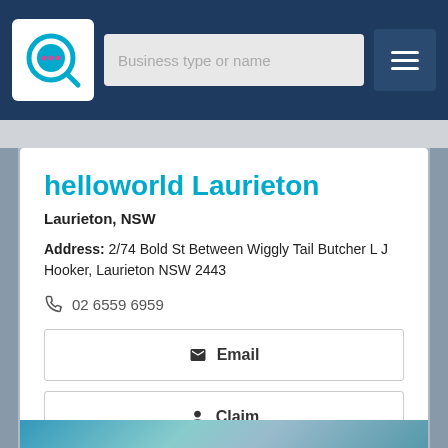Business type or name
helloworld Laurieton
Laurieton, NSW
Address: 2/74 Bold St Between Wiggly Tail Butcher L J Hooker, Laurieton NSW 2443
02 6559 6959
Email
Claim
Call Now
View Details